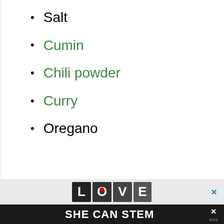Salt
Cumin
Chili powder
Curry
Oregano
[Figure (other): Advertisement with decorative LOVE text graphic and close button (×)]
SHE CAN STEM ×